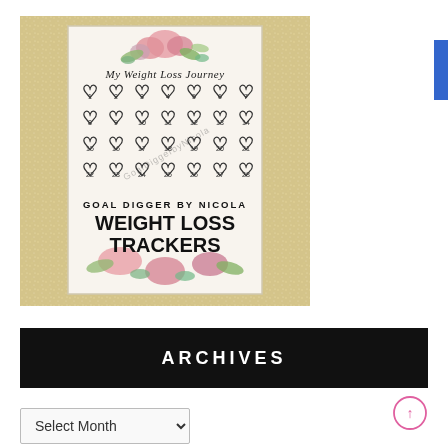[Figure (illustration): Book cover for 'Goal Digger by Nicola – Weight Loss Trackers'. Features a gold glitter background, floral watercolor decoration at top and bottom, a grid of 28 numbered hearts in the center, and text 'My Weight Loss Journey' at the top. Bold text at bottom reads 'GOAL DIGGER BY NICOLA' and 'WEIGHT LOSS TRACKERS'.]
ARCHIVES
Select Month